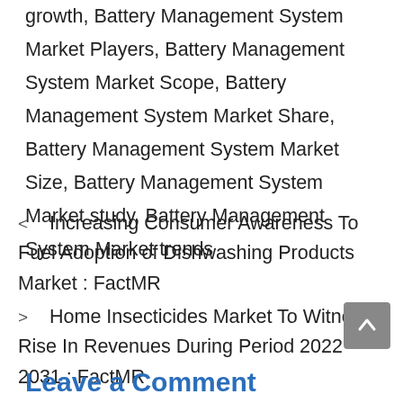growth, Battery Management System Market Players, Battery Management System Market Scope, Battery Management System Market Share, Battery Management System Market Size, Battery Management System Market study, Battery Management System Market trends
< Increasing Consumer Awareness To Fuel Adoption of Dishwashing Products Market : FactMR
> Home Insecticides Market To Witness Rise In Revenues During Period 2022 – 2031 : FactMR
Leave a Comment